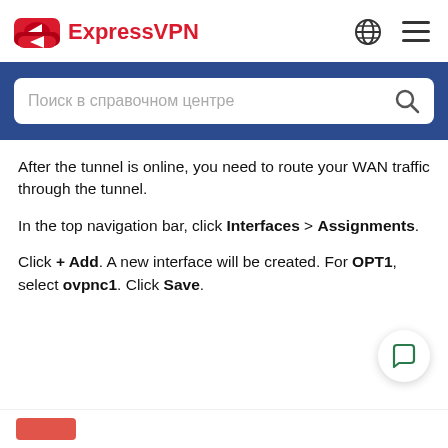[Figure (logo): ExpressVPN logo with red icon and red brand name text, plus globe and hamburger menu icons on the right]
[Figure (screenshot): Blue search bar band with a white rounded search input containing Russian placeholder text 'Поиск в справочном центре' and a search icon]
After the tunnel is online, you need to route your WAN traffic through the tunnel.
In the top navigation bar, click Interfaces > Assignments.
Click + Add. A new interface will be created. For OPT1, select ovpnc1. Click Save.